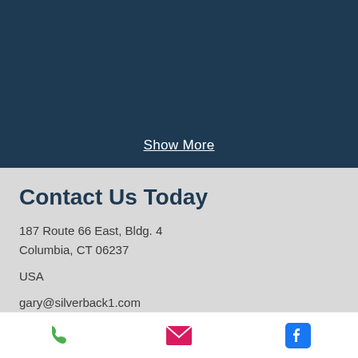Show More
Contact Us Today
187 Route 66 East, Bldg. 4
Columbia, CT 06237
USA
gary@silverback1.com
debcovey@silverback1.com
[Figure (infographic): Bottom navigation bar with three icons: green phone icon, pink/magenta envelope icon, and blue Facebook icon]